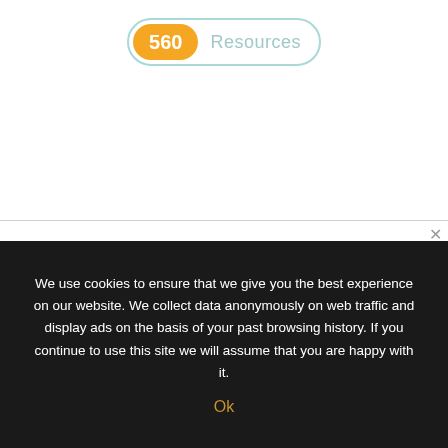[Figure (infographic): A pill-shaped badge with an orange rounded label showing '560' and light teal/cyan text 'Resources' next to it, outlined with a teal border.]
We use cookies to ensure that we give you the best experience on our website. We collect data anonymously on web traffic and display ads on the basis of your past browsing history. If you continue to use this site we will assume that you are happy with it.
Ok